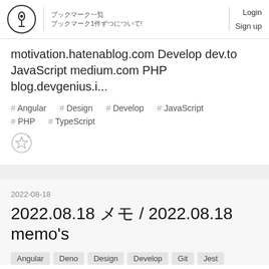ブックマーク一覧 / ブックマーク1件ずつについて!
motivation.hatenablog.com Develop dev.to JavaScript medium.com PHP blog.devgenius.i...
# Angular   # Design   # Develop   # JavaScript   # PHP   # TypeScript
2022-08-18
2022.08.18 メモ / 2022.08.18 memo's
Angular  Deno  Design  Develop  Git  Jest